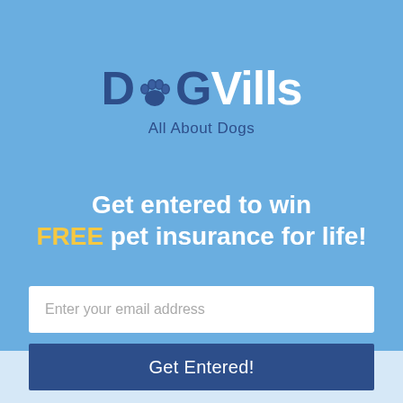[Figure (logo): DogVills logo with paw print icon replacing the letter 'o', tagline 'All About Dogs']
Get entered to win FREE pet insurance for life!
Enter your email address
Get Entered!